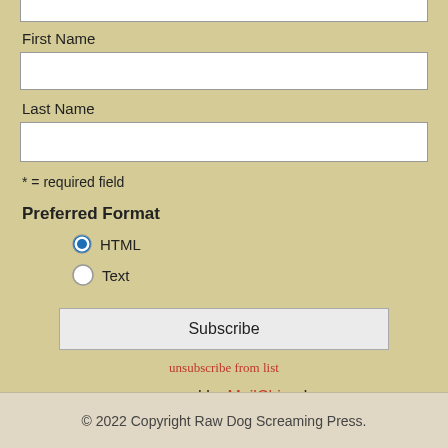First Name
Last Name
* = required field
Preferred Format
HTML (selected radio button)
Text (unselected radio button)
Subscribe
unsubscribe from list
powered by MailChimp!
© 2022 Copyright Raw Dog Screaming Press.